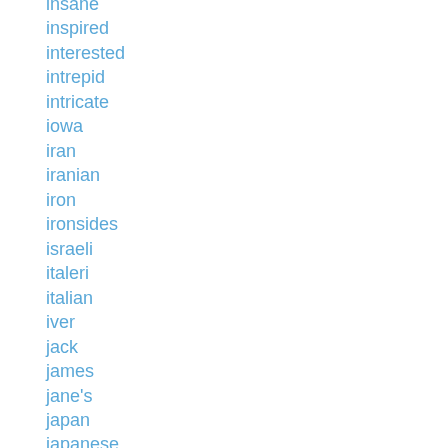insane
inspired
interested
intrepid
intricate
iowa
iran
iranian
iron
ironsides
israeli
italeri
italian
iver
jack
james
jane's
japan
japanese
jason
jeremiah
jersey